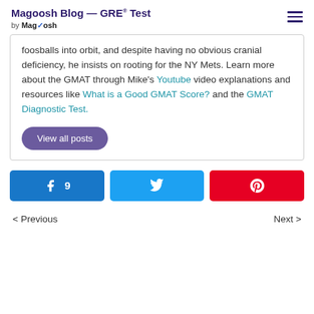Magoosh Blog — GRE® Test
by Magoosh
foosballs into orbit, and despite having no obvious cranial deficiency, he insists on rooting for the NY Mets. Learn more about the GMAT through Mike's Youtube video explanations and resources like What is a Good GMAT Score? and the GMAT Diagnostic Test.
View all posts
[Figure (infographic): Social share buttons: Facebook with count 9, Twitter, Pinterest]
< Previous    Next >